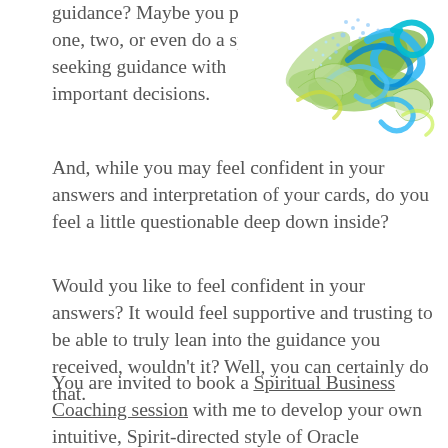guidance? Maybe you pull one, two, or even do a spread seeking guidance with important decisions.  And, while you may feel confident in your answers and interpretation of your cards, do you feel a little questionable deep down inside?
[Figure (illustration): Decorative floral illustration with blue and green swirling leaves and dotted patterns]
Would you like to feel confident in your answers? It would feel supportive and trusting to be able to truly lean into the guidance you received, wouldn't it? Well, you can certainly do that.
You are invited to book a Spiritual Business Coaching session with me to develop your own intuitive, Spirit-directed style of Oracle Readings.  Whether you are a beginner, advanced, or even a professional reader, we'll begin with what you know, fill in gaps of knowledge and build upon your expertise so that you are left with more confidence and accuracy in your